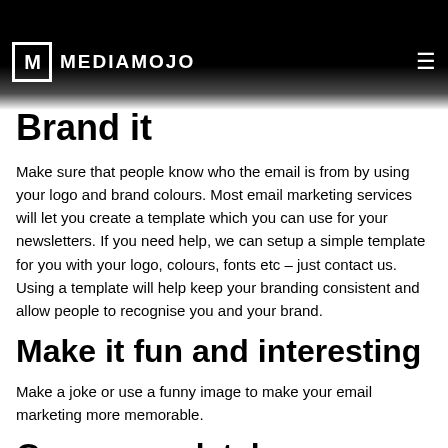Here blog posts
Promote posts from social media
and more...
MEDIAMOJO
Brand it
Make sure that people know who the email is from by using your logo and brand colours. Most email marketing services will let you create a template which you can use for your newsletters. If you need help, we can setup a simple template for you with your logo, colours, fonts etc – just contact us. Using a template will help keep your branding consistent and allow people to recognise you and your brand.
Make it fun and interesting
Make a joke or use a funny image to make your email marketing more memorable.
Grow your database